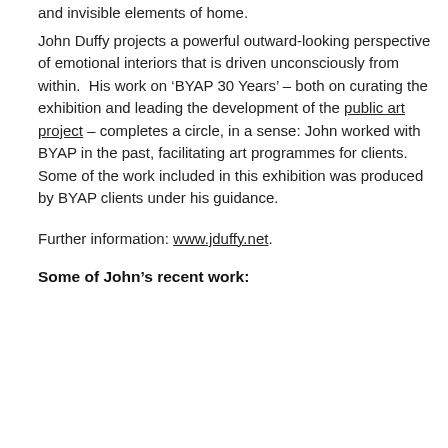and invisible elements of home.
John Duffy projects a powerful outward-looking perspective of emotional interiors that is driven unconsciously from within.  His work on ‘BYAP 30 Years’ – both on curating the exhibition and leading the development of the public art project – completes a circle, in a sense: John worked with BYAP in the past, facilitating art programmes for clients.  Some of the work included in this exhibition was produced by BYAP clients under his guidance.
Further information: www.jduffy.net.
Some of John’s recent work: